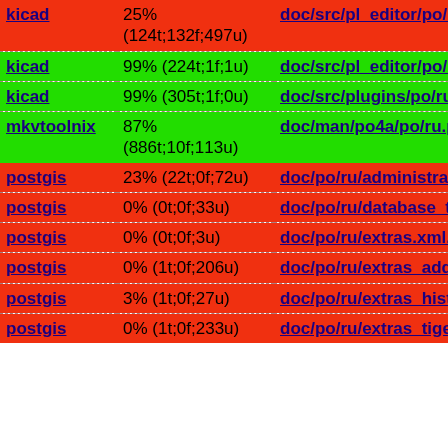| Package | Percentage | Path |
| --- | --- | --- |
| kicad | 25% (124t;132f;497u) | doc/src/pl_editor/po/ru.po |
| kicad | 99% (224t;1f;1u) | doc/src/pl_editor/po/ru.po |
| kicad | 99% (305t;1f;0u) | doc/src/plugins/po/ru.po |
| mkvtoolnix | 87% (886t;10f;113u) | doc/man/po4a/po/ru.po |
| postgis | 23% (22t;0f;72u) | doc/po/ru/administration.xml |
| postgis | 0% (0t;0f;33u) | doc/po/ru/database_tuning... |
| postgis | 0% (0t;0f;3u) | doc/po/ru/extras.xml.po |
| postgis | 0% (1t;0f;206u) | doc/po/ru/extras_address_s... |
| postgis | 3% (1t;0f;27u) | doc/po/ru/extras_historytab... |
| postgis | 0% (1t;0f;233u) | doc/po/ru/extras_tigergeoc... |